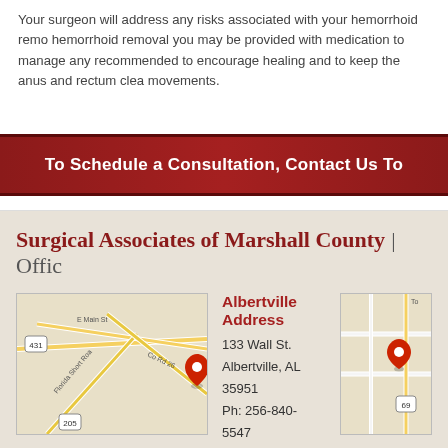Your surgeon will address any risks associated with your hemorrhoid removal. After hemorrhoid removal you may be provided with medication to manage any pain. Sitz baths are recommended to encourage healing and to keep the anus and rectum clean between bowel movements.
To Schedule a Consultation, Contact Us To
Surgical Associates of Marshall County | Offic
Albertville Address
133 Wall St.
Albertville, AL 35951
Ph: 256-840-5547
view map and directions
[Figure (map): Google map showing Albertville location with red pin marker near 133 Wall St, showing E Main St, Florida Short Road, Co Rd 26, route 431 and 205]
[Figure (map): Google map showing second office location with red pin marker, showing route 69]